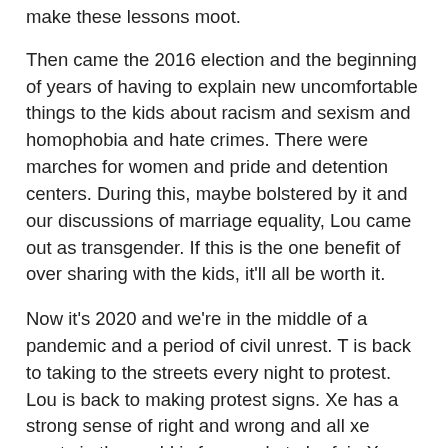make these lessons moot.
Then came the 2016 election and the beginning of years of having to explain new uncomfortable things to the kids about racism and sexism and homophobia and hate crimes. There were marches for women and pride and detention centers. During this, maybe bolstered by it and our discussions of marriage equality, Lou came out as transgender. If this is the one benefit of over sharing with the kids, it'll all be worth it.
Now it's 2020 and we're in the middle of a pandemic and a period of civil unrest. T is back to taking to the streets every night to protest. Lou is back to making protest signs. Xe has a strong sense of right and wrong and all xe wants in the world is for people to be fair. Xe thirsts for justice, which makes sense as xir survival depends on a just and fair world. So we've talked about George Floyd. Just like we talked about Tamir Rice and Sandra Bland and Trayvon Martin and Philando Castille and so many others. Lou was excited to be able to ride in the Oakland Car Caravan protest. Everything seemed fine until that night. After the kids were in bed, T commented that maybe we've told them too much. She said that he and Mara what the diss who are afraid of a